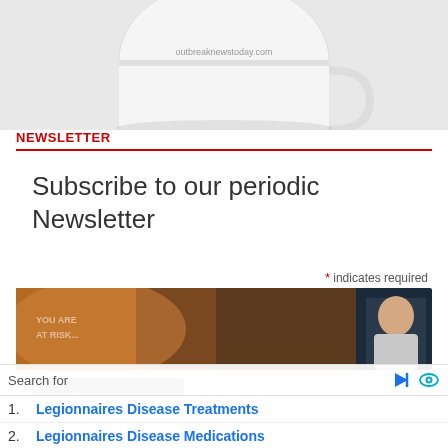[Figure (photo): Partial view of a white mug with outbreaknewstoday.com text visible at the top of the page]
NEWSLETTER
Subscribe to our periodic Newsletter
* indicates required
Email Address *
[Figure (photo): Advertisement image showing a person and abstract background]
Search for
1. Legionnaires Disease Treatments
2. Legionnaires Disease Medications